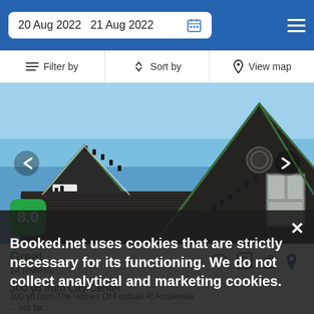20 Aug 2022   21 Aug 2022
Filter by   Sort by   View map
[Figure (photo): Photo of a traditional British stone building with Victorian-style gabled dormers, seen from a low angle against a blue sky]
8.0
Great
14 reviews
300 yd from City Center
100 yd from The Homes Of Football At Ambleside
Booked.net uses cookies that are strictly necessary for its functioning. We do not collect analytical and marketing cookies.